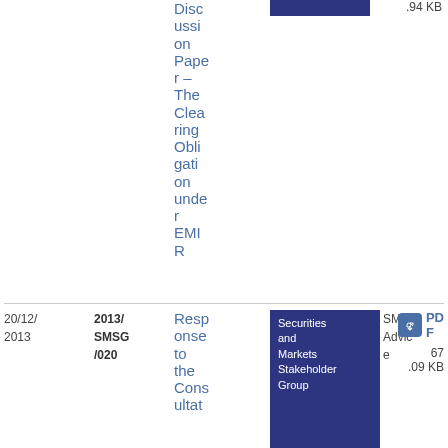| Date | Reference | Title | Body | Type | PDF |
| --- | --- | --- | --- | --- | --- |
|  |  | Discussion Paper – The Clearing Obligation under EMIR | Securities and Markets Stakeholder Group | SMSG Advice | .94 KB |
| 20/12/2013 | 2013/SMSG/020 | Response to the Consultat... | Securities and Markets Stakeholder Group | SMSG Advice | 67.09 KB PDF |